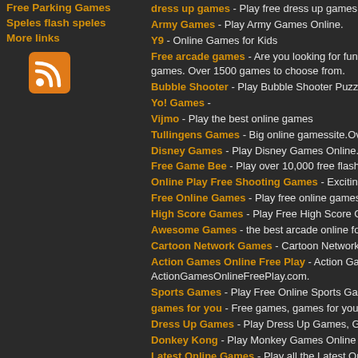Free Parking Games
Speles flash speles
More links
[Figure (logo): RSS feed icon, orange square with white RSS symbol]
dress up games - Play free dress up games at begi...
Army Games - Play Army Games Online.
Y9 - Online Games for Kids
Free arcade games - Are you looking for fun online? games. Over 1500 games to choose from.
Bubble Shooter - Play Bubble Shooter Puzzle Game...
Yo! Games -
Vijmo - Play the best online games
Tullingens Games - Big online gamessite.Over 19 00...
Disney Games - Play Disney Games Online.
Free Game Bee - Play over 10,000 free flash games...
Online Play Free Shooting Games - Exciting selectio...
Free Online Games - Play free online games!
High Score Games - Play Free High Score Games
Awesome Games - the best arcade online for free fla...
Cartoon Network Games - Cartoon Network Games
Action Games Online Free Play - Action Games Onli... ActionGamesOnlineFreePlay.com.
Sports Games - Play Free Online Sports Games
games for you - Free games, games for you, games...
Dress Up Games - Play Dress Up Games, Girl Gam...
Donkey Kong - Play Monkey Games Online For Free...
Latest Online Games - Play all the Latest Online Ga... many more!
paper games - free online paper plane games
Ben 10 Alien Games - Play Ben 10 Online Games
Hidden Object Games - Play hidden object games
Flash Games - Play free flash games at Flashh.net,
Funny Videos - funny videos, funny pictures, funny a...
Cooking Games - Play free online cooking games
Parking Games - Play free online parking games